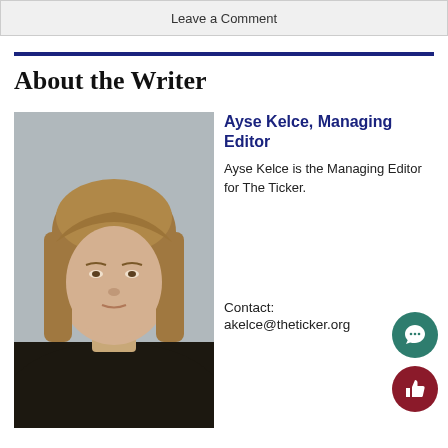Leave a Comment
About the Writer
[Figure (photo): Headshot photo of Ayse Kelce, a young woman with straight light brown/blonde hair, wearing a black top, against a light grey background.]
Ayse Kelce, Managing Editor
Ayse Kelce is the Managing Editor for The Ticker.
Contact:
akelce@theticker.org